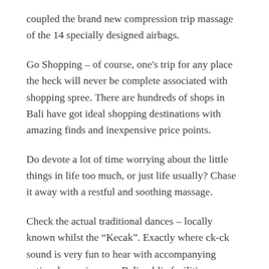coupled the brand new compression trip massage of the 14 specially designed airbags.
Go Shopping – of course, one's trip for any place the heck will never be complete associated with shopping spree. There are hundreds of shops in Bali have got ideal shopping destinations with amazing finds and inexpensive price points.
Do devote a lot of time worrying about the little things in life too much, or just life usually? Chase it away with a restful and soothing massage.
Check the actual traditional dances – locally known whilst the “Kecak”. Exactly where ck-ck sound is very fun to hear with accompanying native dances in some Bali public facilities.